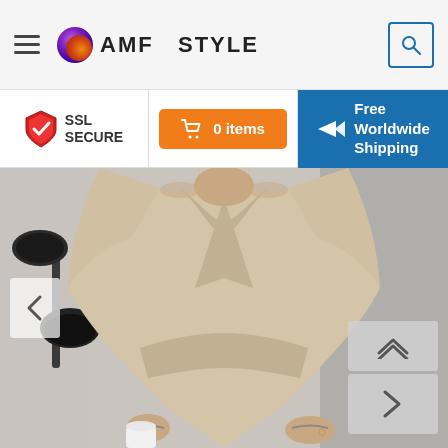AMF STYLE — navigation header with hamburger menu, logo, search button
SSL SECURE
0 items
Free Worldwide Shipping
[Figure (photo): Woman wearing a beige wrap-style dress or blouse, seated, with a desk lamp visible in the background. Hands visible at bottom of frame holding a white cup.]